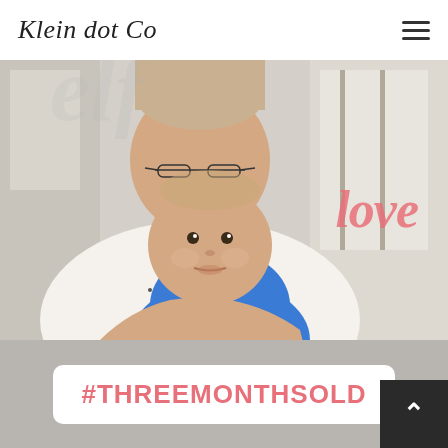Klein dot Co
[Figure (photo): A woman with glasses holding a baby dressed in blue. The woman is wearing a white polka-dot shirt. A cursive pink 'love' text overlay appears in the upper right of the photo.]
#THREEMONTHSOLD